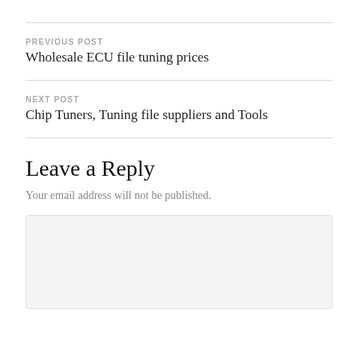PREVIOUS POST
Wholesale ECU file tuning prices
NEXT POST
Chip Tuners, Tuning file suppliers and Tools
Leave a Reply
Your email address will not be published.